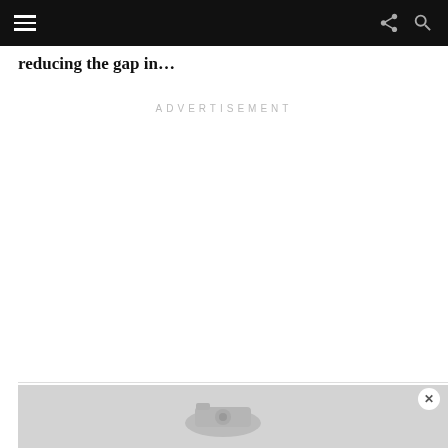reducing the gap in…
ADVERTISEMENT
[Figure (other): Advertisement banner placeholder with camera/device image and close button at bottom of page]